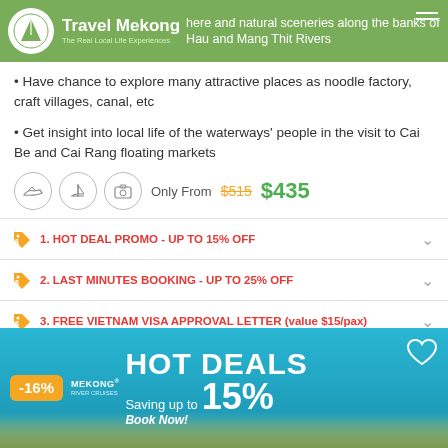Travel Mekong - The Real Local Life Experiences | ...here and natural sceneries along the banks of Hau and Mang Thit Rivers
Have chance to explore many attractive places as noodle factory, craft villages, canal, etc
Get insight into local life of the waterways' people in the visit to Cai Be and Cai Rang floating markets
Only From $515 $435
1. HOT DEAL PROMO - UP TO 15% OFF
2. LAST MINUTES BOOKING - UP TO 25% OFF
3. FREE VIETNAM VISA APPROVAL LETTER (value $15/pax)
[Figure (infographic): Ad banner for Mekong River Cruises Hot Deals promotion, showing -16% badge, HOT DEALS text, Saving up to 15%, Book Now! with heart icon and boat silhouette at bottom]